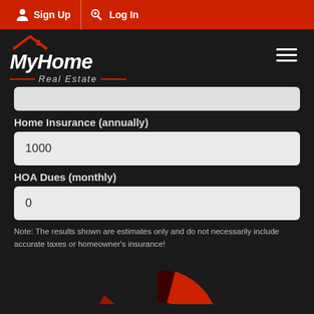Sign Up  Log In
[Figure (logo): MyHome Real Estate logo with house icon on dark background, hamburger menu icon on right]
Home Insurance (annually)
1000
HOA Dues (monthly)
0
Note: The results shown are estimates only and do not necessarily include accurate taxes or homeowner's insurance!
[Figure (donut-chart): Partial donut chart in red tones at bottom of page, only top portion visible]